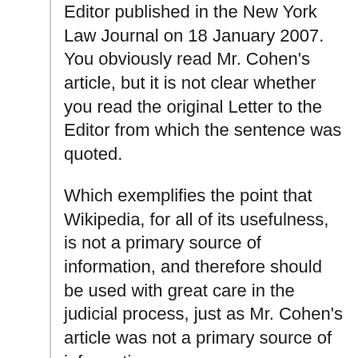Editor published in the New York Law Journal on 18 January 2007. You obviously read Mr. Cohen's article, but it is not clear whether you read the original Letter to the Editor from which the sentence was quoted.
Which exemplifies the point that Wikipedia, for all of its usefulness, is not a primary source of information, and therefore should be used with great care in the judicial process, just as Mr. Cohen's article was not a primary source of information.
Contrary to the impression you may have gotten from Mr. Cohen's New York Times article of 29 January, I am not per se against the use of Wikipedia. For the record, I myself have occasion to make